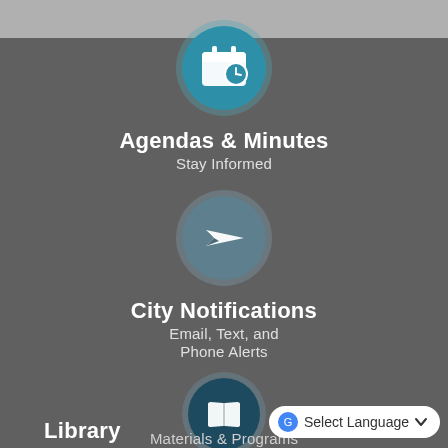[Figure (infographic): Circular icon with calendar and clock symbol, teal blue background, representing Agendas & Minutes]
Agendas & Minutes
Stay Informed
[Figure (infographic): Circular icon with paper airplane symbol, muted teal/gray background, representing City Notifications]
City Notifications
Email, Text, and Phone Alerts
[Figure (infographic): Circular icon with open book symbol, dark teal background, representing Library]
Library
Materials & Programs
Select Language